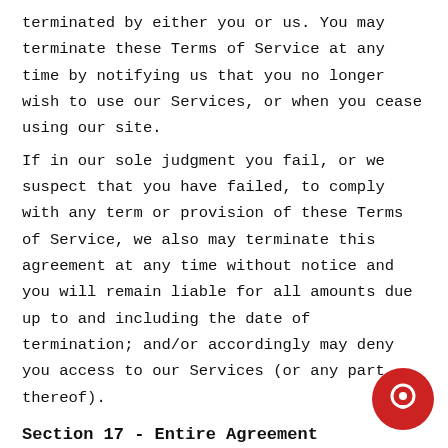terminated by either you or us. You may terminate these Terms of Service at any time by notifying us that you no longer wish to use our Services, or when you cease using our site.
If in our sole judgment you fail, or we suspect that you have failed, to comply with any term or provision of these Terms of Service, we also may terminate this agreement at any time without notice and you will remain liable for all amounts due up to and including the date of termination; and/or accordingly may deny you access to our Services (or any part thereof).
Section 17 - Entire Agreement
The failure of us to exercise or enforce any right or provision of these Terms of Service shall not constitute a waiver of such right or provision.
These Terms of Service and any policies or operating